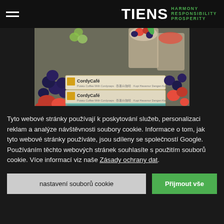TIENS HARMONY RESPONSIBILITY PROSPERITY
[Figure (photo): Photo of CordyCafe product packets with berries (raspberries, blueberries, grapes) and dessert glasses in background]
Tyto webové stránky používají k poskytování služeb, personalizaci reklam a analýze návštěvnosti soubory cookie. Informace o tom, jak tyto webové stránky používáte, jsou sdíleny se společností Google. Používáním těchto webových stránek souhlasíte s použitím souborů cookie. Více informací viz naše Zásady ochrany dat.
nastavení souborů cookie | Přijmout vše